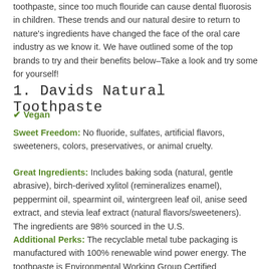toothpaste, since too much flouride can cause dental fluorosis in children. These trends and our natural desire to return to nature's ingredients have changed the face of the oral care industry as we know it. We have outlined some of the top brands to try and their benefits below–Take a look and try some for yourself!
1. Davids Natural Toothpaste
✔ Vegan
Sweet Freedom: No fluoride, sulfates, artificial flavors, sweeteners, colors, preservatives, or animal cruelty.
Great Ingredients: Includes baking soda (natural, gentle abrasive), birch-derived xylitol (remineralizes enamel), peppermint oil, spearmint oil, wintergreen leaf oil, anise seed extract, and stevia leaf extract (natural flavors/sweeteners). The ingredients are 98% sourced in the U.S.
Additional Perks: The recyclable metal tube packaging is manufactured with 100% renewable wind power energy. The toothpaste is Environmental Working Group Certified